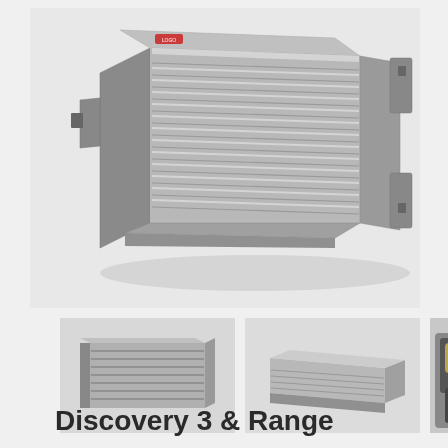[Figure (photo): Large product photo of an aluminium intercooler/heat exchanger with fins, viewed at an angle, with mounting brackets on right side, against a light grey background.]
[Figure (photo): Thumbnail photo showing the intercooler from the front/side angle.]
[Figure (photo): Thumbnail photo showing the intercooler in a lower perspective angle.]
[Figure (photo): Thumbnail photo showing the intercooler installed in a vehicle (Land Rover Discovery/Range Rover).]
Discovery 3 & Range